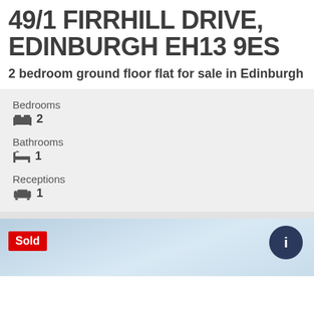49/1 FIRRHILL DRIVE, EDINBURGH EH13 9ES
2 bedroom ground floor flat for sale in Edinburgh
Bedrooms 2
Bathrooms 1
Receptions 1
[Figure (photo): Property photo with Sold badge overlay and circular icon]